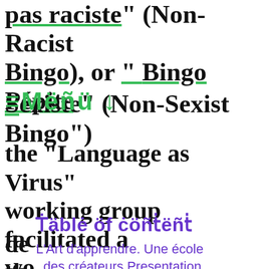pas raciste" (Non-Racist Bingo), or " Bingo Pépite Sexiste" (Non-Sexist Bingo")
the "Language as Virus" working group facilitated a workshop dedicated to deconstructing the use of racist, sexist, ableist, transphobic and validist statements.
L'Art d'apprendre. Une école des créateurs Presentation of Teaching to Transgress Toolbox
Motgiftet #3 Teaching to Transgress Toolbox's "Who is in the classroom?"
Who is in the Classroom? A workshop towards inclusion and diversity